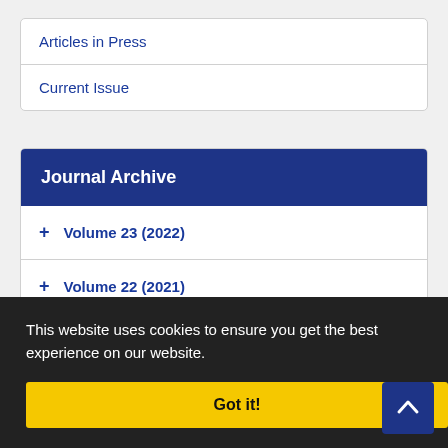Articles in Press
Current Issue
Journal Archive
+ Volume 23 (2022)
+ Volume 22 (2021)
+ Volume 21 (2020)
This website uses cookies to ensure you get the best experience on our website.
Got it!